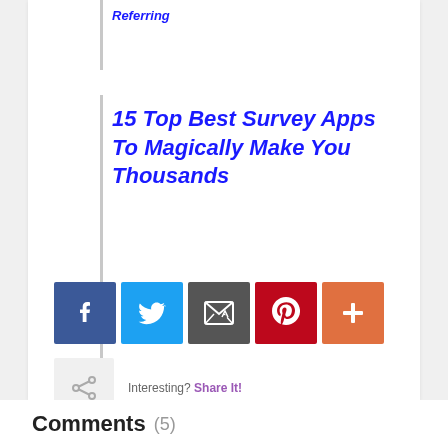Referring
15 Top Best Survey Apps To Magically Make You Thousands
[Figure (other): Social sharing buttons: Facebook (blue), Twitter (light blue), Email (dark gray), Pinterest (dark red), More/Plus (orange-red)]
Interesting? Share It!
Comments (5)